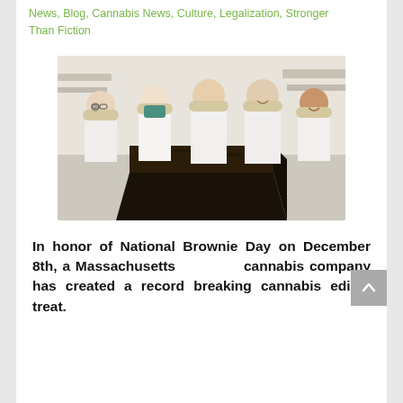News, Blog, Cannabis News, Culture, Legalization, Stronger Than Fiction
[Figure (photo): Five workers in white lab coats and hair nets standing behind a large dark cannabis brownie block in a commercial kitchen/lab setting. One worker wears a teal face mask.]
In honor of National Brownie Day on December 8th, a Massachusetts cannabis company has created a record breaking cannabis edible treat.